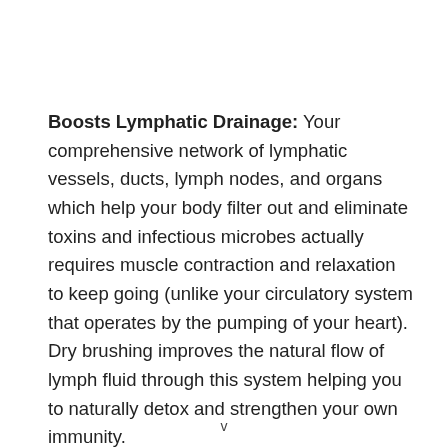Boosts Lymphatic Drainage: Your comprehensive network of lymphatic vessels, ducts, lymph nodes, and organs which help your body filter out and eliminate toxins and infectious microbes actually requires muscle contraction and relaxation to keep going (unlike your circulatory system that operates by the pumping of your heart). Dry brushing improves the natural flow of lymph fluid through this system helping you to naturally detox and strengthen your own immunity.
v